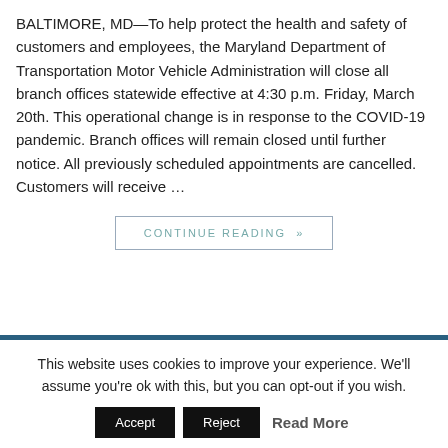BALTIMORE, MD—To help protect the health and safety of customers and employees, the Maryland Department of Transportation Motor Vehicle Administration will close all branch offices statewide effective at 4:30 p.m. Friday, March 20th. This operational change is in response to the COVID-19 pandemic. Branch offices will remain closed until further notice. All previously scheduled appointments are cancelled. Customers will receive …
CONTINUE READING »
This website uses cookies to improve your experience. We'll assume you're ok with this, but you can opt-out if you wish.
Accept  Reject  Read More